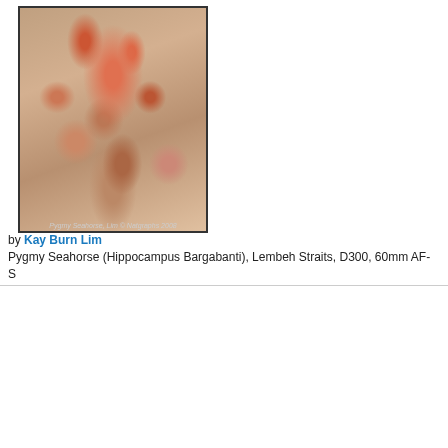[Figure (photo): Close-up macro photograph of a Pygmy Seahorse (Hippocampus Bargabanti) camouflaged on coral in Lembeh Straits]
by Kay Burn Lim
Pygmy Seahorse (Hippocampus Bargabanti), Lembeh Straits, D300, 60mm AF-S
[Figure (photo): Macro photograph of a small red seahorse or pipefish on sandy/rocky sea floor]